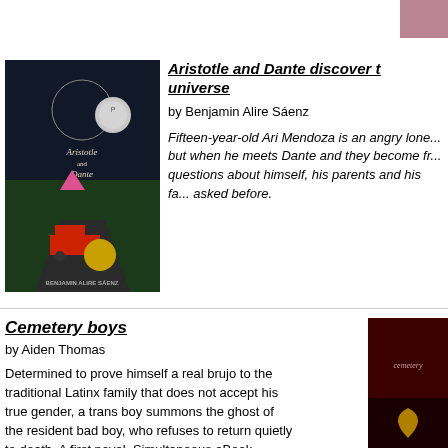[Figure (photo): Partial book cover visible in top-right corner]
[Figure (photo): Book cover of Aristotle and Dante Discover the Secrets of the Universe by Benjamin Alire Saenz — dark cover with illustrated text and medallions]
Aristotle and Dante discover the secrets of the universe
by Benjamin Alire Sáenz
Fifteen-year-old Ari Mendoza is an angry loner, but when he meets Dante and they become fr... questions about himself, his parents and his fa... asked before.
Cemetery boys
by Aiden Thomas
Determined to prove himself a real brujo to the traditional Latinx family that does not accept his true gender, a trans boy summons the ghost of the resident bad boy, who refuses to return quietly to death. A first novel. Simultaneous eBook.
[Figure (photo): Partial book cover of Cemetery Boys visible at bottom right — dark red cover]